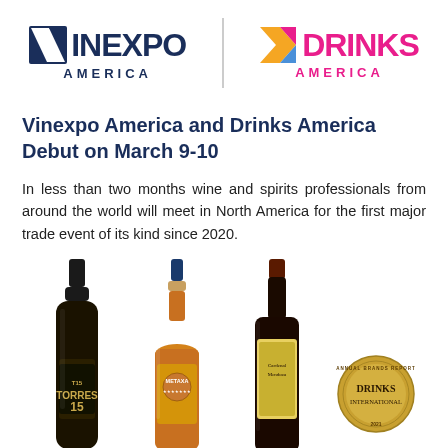[Figure (logo): Vinexpo America and Drinks America combined logos with a vertical divider]
Vinexpo America and Drinks America Debut on March 9-10
In less than two months wine and spirits professionals from around the world will meet in North America for the first major trade event of its kind since 2020.
[Figure (photo): Three spirit/liquor bottles: Torres 15 brandy (dark bottle), Metaxa (amber bottle), and Cardenal Mendoza (dark bottle with red seal), plus a Drinks International gold medal badge]